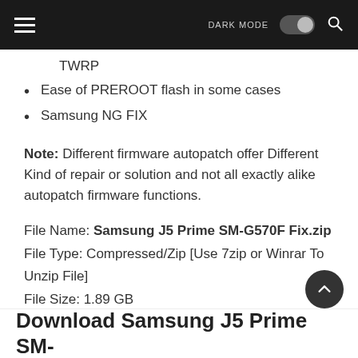DARK MODE [toggle] [search]
TWRP
Ease of PREROOT flash in some cases
Samsung NG FIX
Note: Different firmware autopatch offer Different Kind of repair or solution and not all exactly alike autopatch firmware functions.
File Name: Samsung J5 Prime SM-G570F Fix.zip
File Type: Compressed/Zip [Use 7zip or Winrar To Unzip File]
File Size: 1.89 GB
File Password: gsmxcell.net
Virus Status: Scanned by Avast Security.
Download Samsung J5 Prime SM-